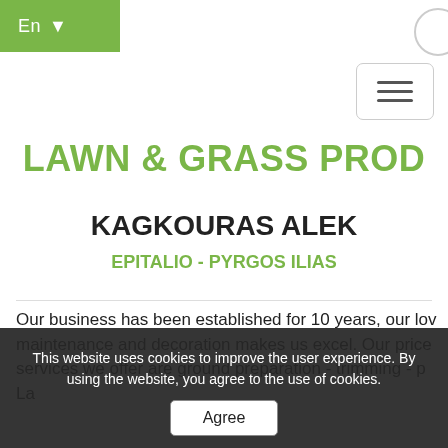En
LAWN & GRASS PROD
KAGKOURAS ALEK
EPITALIO - PYRGOS ILIAS
Our business has been established for 10 years, our love maintenance and decoration makes us excel. Our price services we offer are ground preparation - trimming - p La this website uses cookies to improve the user experience. By using the website, you agree to the use of cookies. This is where we produce ready-made turf. We have the market and you will find the new variety of the n
This website uses cookies to improve the user experience. By using the website, you agree to the use of cookies.